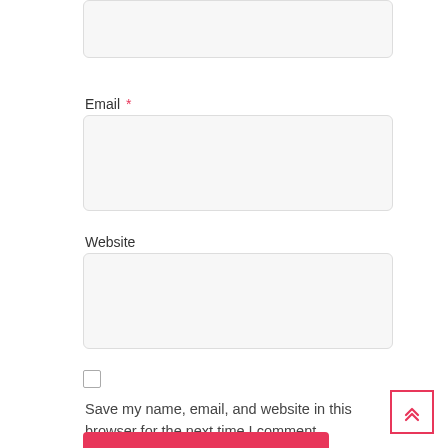[Figure (screenshot): Empty text input field (top, partially cut off)]
Email *
[Figure (screenshot): Empty email input field]
Website
[Figure (screenshot): Empty website input field]
[Figure (screenshot): Unchecked checkbox]
Save my name, email, and website in this browser for the next time I comment.
[Figure (screenshot): POST COMMENT button (pink/red) and scroll-to-top arrow button]